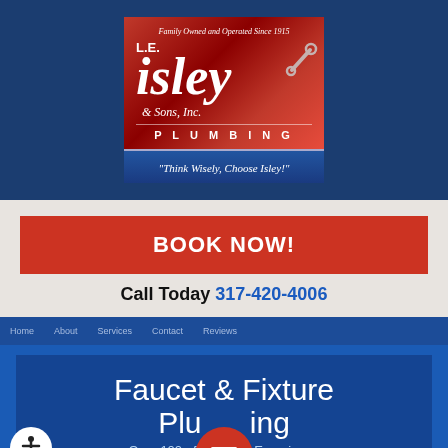[Figure (logo): L.E. Isley & Sons, Inc. Plumbing logo on red gradient background with tagline 'Think Wisely, Choose Isley!' on blue banner. Text reads: Family Owned and Operated Since 1915]
BOOK NOW!
Call Today 317-420-4006
Faucet & Fixture Plumbing
Over 100 of Ho... ...vice Experience